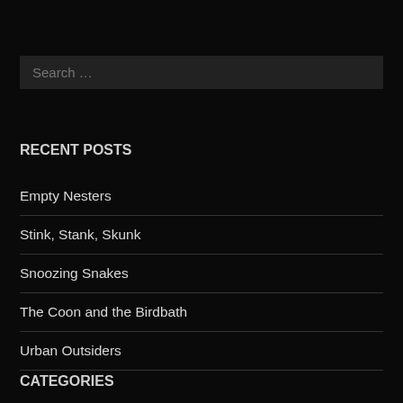Search …
RECENT POSTS
Empty Nesters
Stink, Stank, Skunk
Snoozing Snakes
The Coon and the Birdbath
Urban Outsiders
CATEGORIES